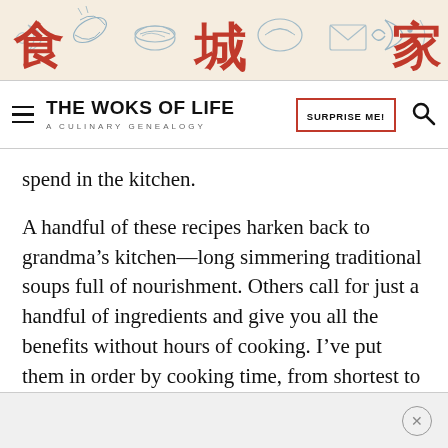[Figure (illustration): Header banner with beige/cream background featuring Chinese characters in red (食, 城, 家) and blue ink illustrations of seafood/food items including fish, shrimp, dumplings, and other dishes]
THE WOKS OF LIFE | A CULINARY GENEALOGY | SURPRISE ME!
spend in the kitchen.
A handful of these recipes harken back to grandma's kitchen––long simmering traditional soups full of nourishment. Others call for just a handful of ingredients and give you all the benefits without hours of cooking. I've put them in order by cooking time, from shortest to longest!